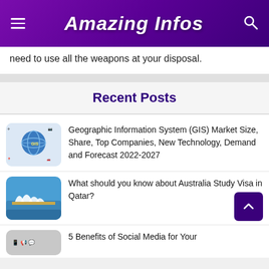Amazing Infos
need to use all the weapons at your disposal.
Recent Posts
[Figure (illustration): GIS globe diagram thumbnail image]
Geographic Information System (GIS) Market Size, Share, Top Companies, New Technology, Demand and Forecast 2022-2027
[Figure (photo): Sydney Opera House thumbnail photo]
What should you know about Australia Study Visa in Qatar?
[Figure (illustration): Social media thumbnail image (partially visible)]
5 Benefits of Social Media for Your